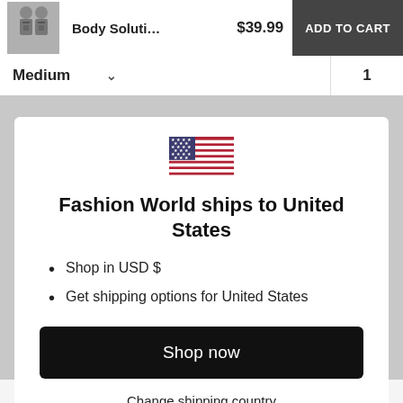[Figure (screenshot): Product thumbnail showing body posture corrector worn by two people]
Body Soluti…   $39.99   ADD TO CART
Medium   ∨   1
[Figure (illustration): US flag emoji/icon]
Fashion World ships to United States
Shop in USD $
Get shipping options for United States
Shop now
Change shipping country
success wearing it 2-4 hours at a time.